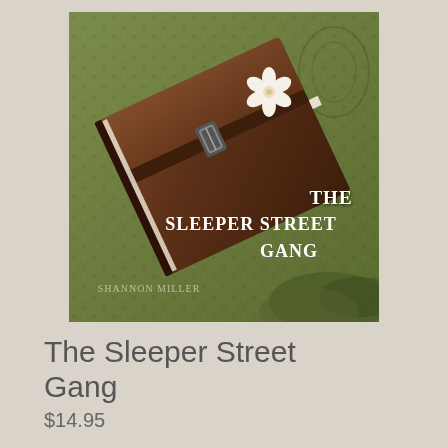[Figure (photo): Book cover of 'The Sleeper Street Gang' showing a brown leather satchel/briefcase with a white flower on top, resting on a green textured fabric background. The title 'The Sleeper Street Gang' is overlaid in bold serif font on the lower right of the cover, with author name below in smaller text.]
The Sleeper Street Gang
$14.95